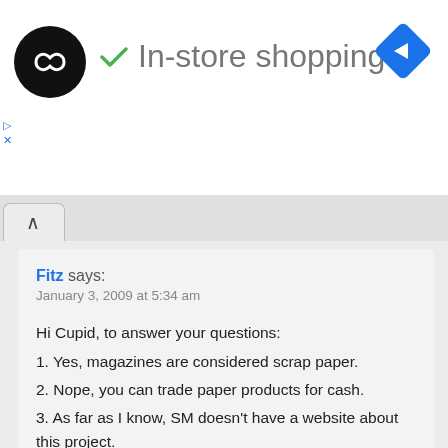[Figure (logo): Black circular logo with double arrow/infinity symbol in white, followed by a green checkmark and text 'In-store shopping', and a blue diamond navigation icon on the right]
Fitz says:
January 3, 2009 at 5:34 am
Hi Cupid, to answer your questions:
1. Yes, magazines are considered scrap paper.
2. Nope, you can trade paper products for cash.
3. As far as I know, SM doesn't have a website about this project.
Thanks for the visit! 😐